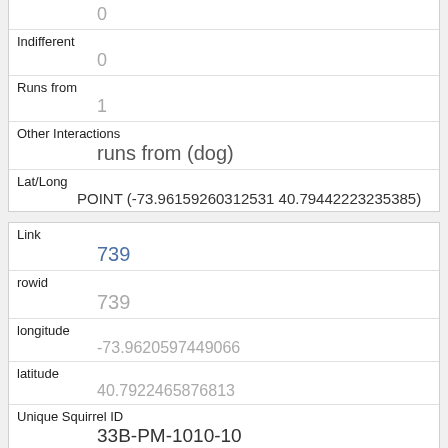| Indifferent | 0 |
| Runs from | 1 |
| Other Interactions | runs from (dog) |
| Lat/Long | POINT (-73.96159260312531 40.79442223235385) |
| Link | 739 |
| rowid | 739 |
| longitude | -73.9620597449066 |
| latitude | 40.7922465876813 |
| Unique Squirrel ID | 33B-PM-1010-10 |
| Hectare |  |